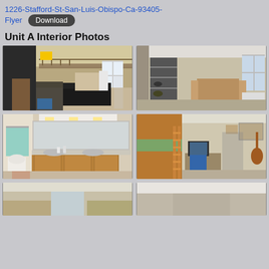1226-Stafford-St-San-Luis-Obispo-Ca-93405-Flyer  Download
Unit A Interior Photos
[Figure (photo): Interior living room with loft, black couch, bicycle, kitchen area in background]
[Figure (photo): Interior kitchen/dining area with shelving unit and dining table]
[Figure (photo): Bathroom with double vanity, mirror, toilet visible]
[Figure (photo): Bedroom with loft bed, wooden ladder, desk, guitar on wall]
[Figure (photo): Partial interior room view, bottom row left]
[Figure (photo): Partial interior room view, bottom row right]